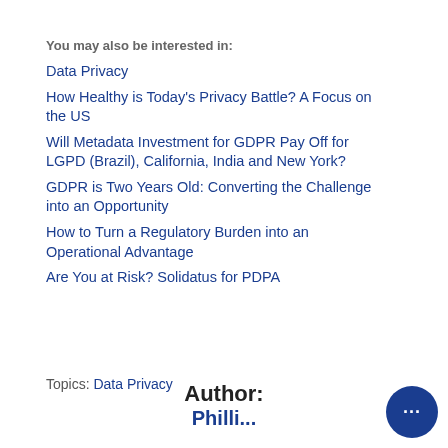You may also be interested in:
Data Privacy
How Healthy is Today's Privacy Battle? A Focus on the US
Will Metadata Investment for GDPR Pay Off for LGPD (Brazil), California, India and New York?
GDPR is Two Years Old: Converting the Challenge into an Opportunity
How to Turn a Regulatory Burden into an Operational Advantage
Are You at Risk? Solidatus for PDPA
Topics: Data Privacy
Author:
Philli...